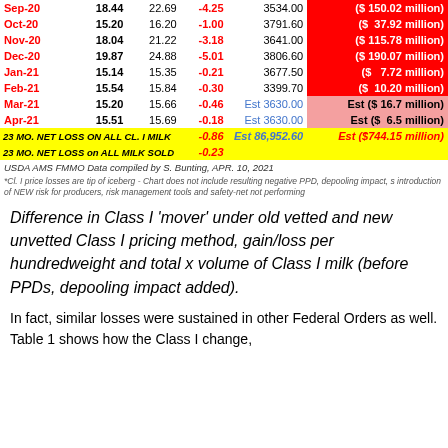| Month | Actual | Old | Diff | Volume | Loss |
| --- | --- | --- | --- | --- | --- |
| Sep-20 | 18.44 | 22.69 | -4.25 | 3534.00 | ($ 150.02 million) |
| Oct-20 | 15.20 | 16.20 | -1.00 | 3791.60 | ($ 37.92 million) |
| Nov-20 | 18.04 | 21.22 | -3.18 | 3641.00 | ($ 115.78 million) |
| Dec-20 | 19.87 | 24.88 | -5.01 | 3806.60 | ($ 190.07 million) |
| Jan-21 | 15.14 | 15.35 | -0.21 | 3677.50 | ($   7.72 million) |
| Feb-21 | 15.54 | 15.84 | -0.30 | 3399.70 | ($  10.20 million) |
| Mar-21 | 15.20 | 15.66 | -0.46 | Est 3630.00 | Est ($ 16.7 million) |
| Apr-21 | 15.51 | 15.69 | -0.18 | Est 3630.00 | Est ($  6.5 million) |
| 23 MO. NET LOSS ON ALL CL. I MILK |  |  | -0.86 | Est 86,952.60 | Est ($744.15 million) |
| 23 MO. NET LOSS on ALL MILK SOLD |  |  | -0.23 |  |  |
USDA AMS FMMO Data compiled by S. Bunting, APR. 10, 2021
*Cl. I price losses are tip of iceberg - Chart does not include resulting negative PPD, depooling impact, s introduction of NEW risk for producers, risk management tools and safety-net not performing
Difference in Class I 'mover' under old vetted and new unvetted Class I pricing method, gain/loss per hundredweight and total x volume of Class I milk (before PPDs, depooling impact added).
In fact, similar losses were sustained in other Federal Orders as well. Table 1 shows how the Class I change,